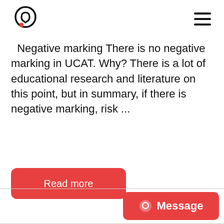[logo] [hamburger menu]
Negative marking There is no negative marking in UCAT. Why? There is a lot of educational research and literature on this point, but in summary, if there is negative marking, risk ...
Read more
Message